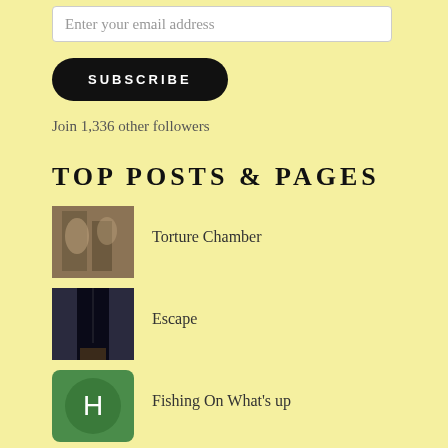Enter your email address
SUBSCRIBE
Join 1,336 other followers
TOP POSTS & PAGES
[Figure (photo): Thumbnail image for Torture Chamber post]
Torture Chamber
[Figure (photo): Thumbnail image for Escape post - dark hallway]
Escape
[Figure (photo): Thumbnail image for Fishing On What's up post - green icon]
Fishing On What's up
[Figure (photo): Thumbnail image for Rodent Alert post - rat]
Rodent Alert
[Figure (photo): Thumbnail image for Scary Building Style post - building]
Scary Building Style